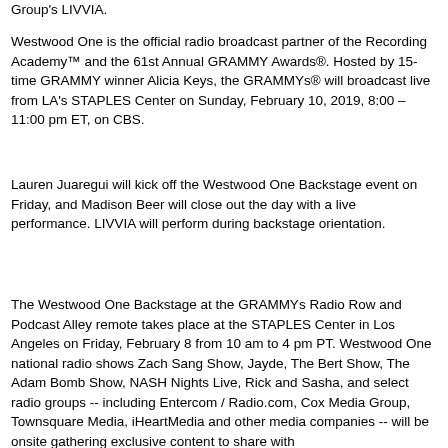Group's LIVVIA.
Westwood One is the official radio broadcast partner of the Recording Academy™ and the 61st Annual GRAMMY Awards®. Hosted by 15-time GRAMMY winner Alicia Keys, the GRAMMYs® will broadcast live from LA's STAPLES Center on Sunday, February 10, 2019, 8:00 – 11:00 pm ET, on CBS.
Lauren Juaregui will kick off the Westwood One Backstage event on Friday, and Madison Beer will close out the day with a live performance. LIVVIA will perform during backstage orientation.
The Westwood One Backstage at the GRAMMYs Radio Row and Podcast Alley remote takes place at the STAPLES Center in Los Angeles on Friday, February 8 from 10 am to 4 pm PT. Westwood One national radio shows Zach Sang Show, Jayde, The Bert Show, The Adam Bomb Show, NASH Nights Live, Rick and Sasha, and select radio groups -- including Entercom / Radio.com, Cox Media Group, Townsquare Media, iHeartMedia and other media companies -- will be onsite gathering exclusive content to share with